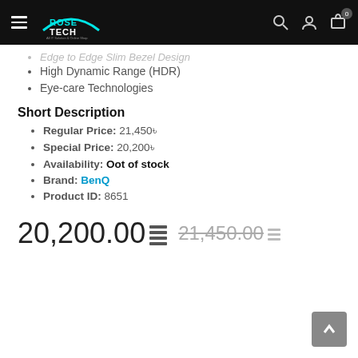RoseTech — navigation bar with hamburger menu, logo, search, account, cart (0)
Edge to Edge Slim Bezel Design (partially visible, faded)
High Dynamic Range (HDR)
Eye-care Technologies
Short Description
Regular Price: 21,450৳
Special Price: 20,200৳
Availability: Oot of stock
Brand: BenQ
Product ID: 8651
20,200.00৳  21,450.00৳ (strikethrough)